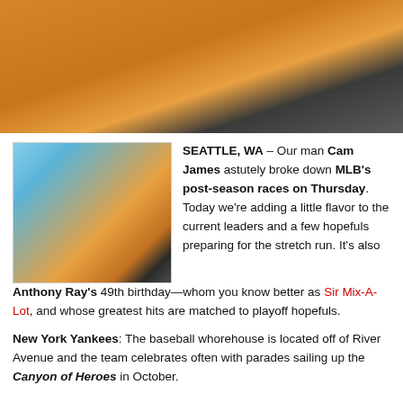[Figure (photo): Top photo showing orange/golden background with a man in dark jacket on the right side]
[Figure (photo): Photo of two women on large pumpkins and a man in a black hat and sunglasses pointing, with blue sky background]
SEATTLE, WA – Our man Cam James astutely broke down MLB's post-season races on Thursday. Today we're adding a little flavor to the current leaders and a few hopefuls preparing for the stretch run. It's also Anthony Ray's 49th birthday—whom you know better as Sir Mix-A-Lot, and whose greatest hits are matched to playoff hopefuls.
New York Yankees: The baseball whorehouse is located off of River Avenue and the team celebrates often with parades sailing up the Canyon of Heroes in October.